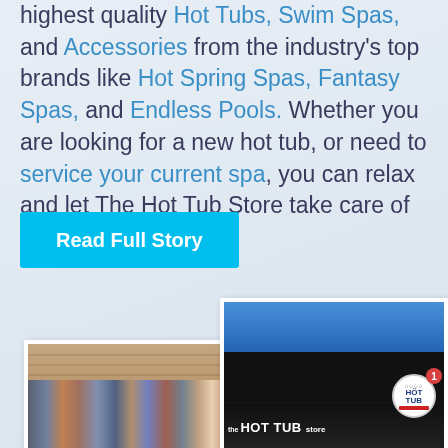highest quality Hot Tubs, Swim Spas, and Accessories from the industry's top brands like Hot Spring Spas, Fantasy Spas, and Endless Pools. Whether you are looking for a new hot tub, or need to service your current spa, you can relax and let The Hot Tub Store take care of you.
Read Full Story
[Figure (photo): Group photo of The Hot Tub Store team members standing in front of a brick wall]
[Figure (photo): Exterior of The Hot Tub Store storefront with illuminated sign, blue building facade, and a circular logo badge with notification number 1]